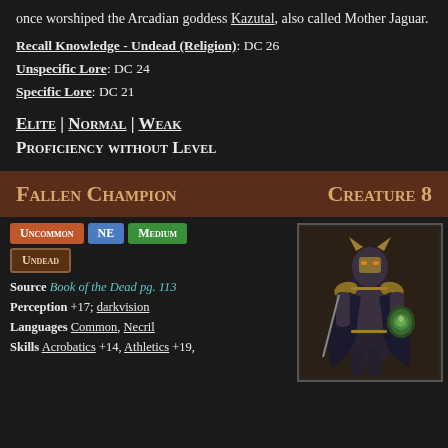once worshiped the Arcadian goddess Kazutal, also called Mother Jaguar.
Recall Knowledge - Undead (Religion): DC 26
Unspecific Lore: DC 24
Specific Lore: DC 21
Elite | Normal | Weak
Proficiency without Level
Fallen Champion   Creature 8
Uncommon  NE  Medium  Undead
Source Book of the Dead pg. 113
Perception +17; darkvision
Languages Common, Necril
Skills Acrobatics +14, Athletics +19,
[Figure (illustration): A tall armored undead warrior figure wearing dark robes and golden jaguar-themed armor, holding a shield with a green emblem.]